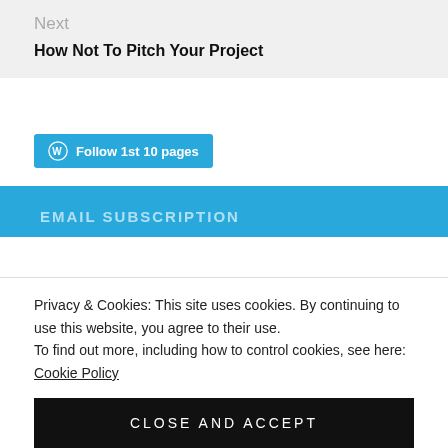Next
How Not To Pitch Your Project
[Figure (other): WordPress Follow button: Follow 1st 10 pages]
EMAIL SUBSCRIPTION
Privacy & Cookies: This site uses cookies. By continuing to use this website, you agree to their use.
To find out more, including how to control cookies, see here: Cookie Policy
CLOSE AND ACCEPT